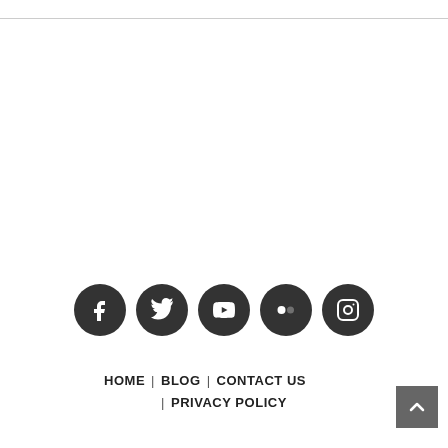[Figure (other): Row of five social media icon buttons (Facebook, Twitter, YouTube, Flickr, Instagram) as dark circular icons]
HOME | BLOG | CONTACT US | PRIVACY POLICY